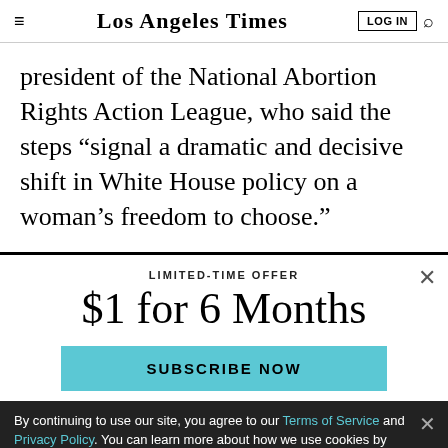Los Angeles Times
president of the National Abortion Rights Action League, who said the steps “signal a dramatic and decisive shift in White House policy on a woman’s freedom to choose.”
LIMITED-TIME OFFER
$1 for 6 Months
SUBSCRIBE NOW
By continuing to use our site, you agree to our Terms of Service and Privacy Policy. You can learn more about how we use cookies by reviewing our Privacy Policy. Close